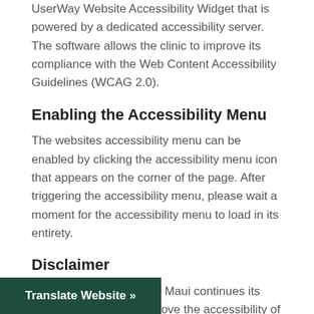UserWay Website Accessibility Widget that is powered by a dedicated accessibility server. The software allows the clinic to improve its compliance with the Web Content Accessibility Guidelines (WCAG 2.0).
Enabling the Accessibility Menu
The websites accessibility menu can be enabled by clicking the accessibility menu icon that appears on the corner of the page. After triggering the accessibility menu, please wait a moment for the accessibility menu to load in its entirety.
Disclaimer
The Community Clinic of Maui continues its efforts to constantly improve the accessibility of its site and services in the belief that it is our collective moral obligation to allow seamless, accessible and those of us with disabilities.
Translate Website »